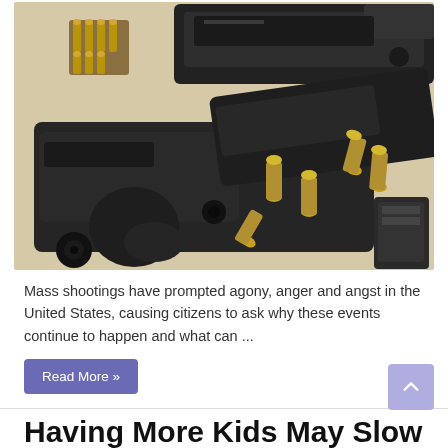[Figure (photo): Photo showing multiple black handguns and loose ammunition bullets/cartridges scattered on a light-colored surface]
Mass shootings have prompted agony, anger and angst in the United States, causing citizens to ask why these events continue to happen and what can ...
Read More »
Having More Kids May Slow...